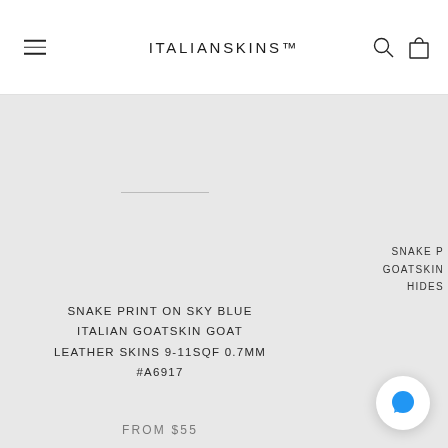ITALIANSKINS™
[Figure (photo): Product image area showing a faint horizontal line, suggesting a leather skin product on a light grey background. Partially visible second product on the right.]
SNAKE PRINT ON SKY BLUE ITALIAN GOATSKIN GOAT LEATHER SKINS 9-11SQF 0.7MM #A6917
FROM $55
SNAKE P GOATSKIN HIDES